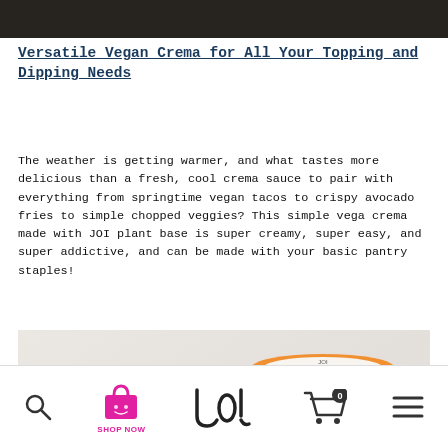[Figure (photo): Dark background top portion of a webpage image (cropped top of photo)]
Versatile Vegan Crema for All Your Topping and Dipping Needs
The weather is getting warmer, and what tastes more delicious than a fresh, cool crema sauce to pair with everything from springtime vegan tacos to crispy avocado fries to simple chopped veggies? This simple vega crema made with JOI plant base is super creamy, super easy, and super addictive, and can be made with your basic pantry staples!
[Figure (photo): JOI branded plant base container (white cylindrical container with orange lid and JOI logo) next to a taco with avocado and vegetables on a marble surface]
Navigation bar with search icon, shop now (pink shopping bag), JOI logo, cart (0 items), and menu icons